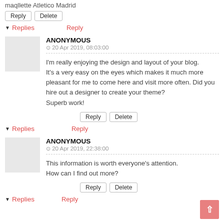maqllette Atletico Madrid
Reply | Delete
▾ Replies   Reply
ANONYMOUS
⊙ 20 Apr 2019, 08:03:00
I'm really enjoying the design and layout of your blog. It's a very easy on the eyes which makes it much more pleasant for me to come here and visit more often. Did you hire out a designer to create your theme? Superb work!
Reply | Delete
▾ Replies   Reply
ANONYMOUS
⊙ 20 Apr 2019, 22:38:00
This information is worth everyone's attention. How can I find out more?
Reply | Delete
▾ Replies   Reply